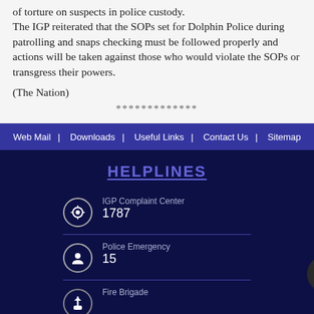of torture on suspects in police custody. The IGP reiterated that the SOPs set for Dolphin Police during patrolling and snaps checking must be followed properly and actions will be taken against those who would violate the SOPs or transgress their powers.
(The Nation)
*************
Web Mail  Downloads  Useful Links  Contact Us  Sitemap
HELPLINES
IGP Complaint Center
1787
Police Emergency
15
Fire Brigade